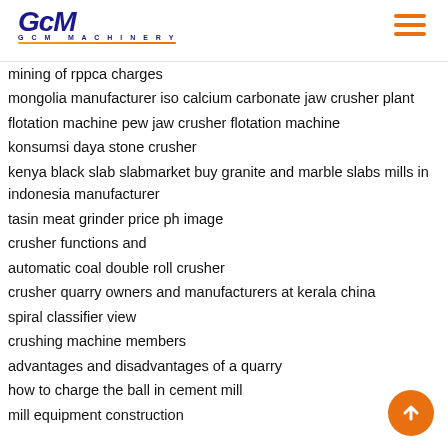GCM MACHINERY
mining of rppca charges
mongolia manufacturer iso calcium carbonate jaw crusher plant
flotation machine pew jaw crusher flotation machine
konsumsi daya stone crusher
kenya black slab slabmarket buy granite and marble slabs mills in indonesia manufacturer
tasin meat grinder price ph image
crusher functions and
automatic coal double roll crusher
crusher quarry owners and manufacturers at kerala china
spiral classifier view
crushing machine members
advantages and disadvantages of a quarry
how to charge the ball in cement mill
mill equipment construction